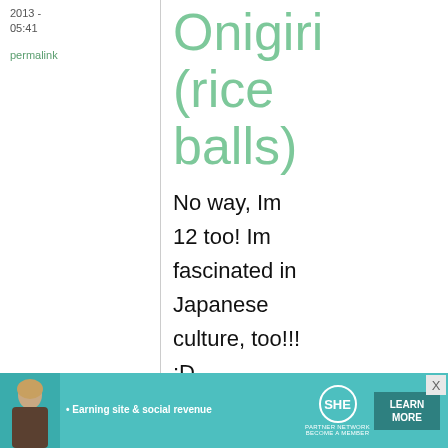2013 - 05:41
permalink
Onigiri (rice balls)
No way, Im 12 too! Im fascinated in Japanese culture, too!!! :D I have blonde hair and blue
[Figure (infographic): SHE Partner Network advertisement banner: Earning site & social revenue. Shows a woman with blonde hair, SHE logo in a circle, and a Learn More button on teal background.]